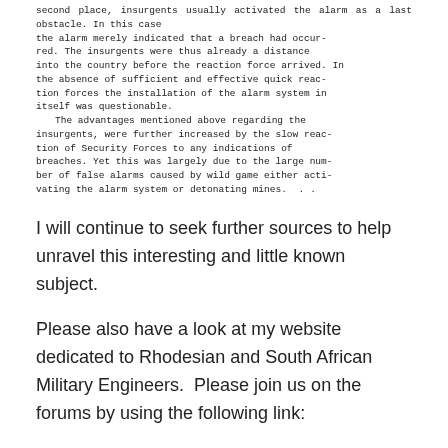second place, insurgents usually activated the alarm as a last obstacle. In this case the alarm merely indicated that a breach had occurred. The insurgents were thus already a distance into the country before the reaction force arrived. In the absence of sufficient and effective quick reaction forces the installation of the alarm system in itself was questionable. The advantages mentioned above regarding the insurgents, were further increased by the slow reaction of Security Forces to any indications of breaches. Yet this was largely due to the large number of false alarms caused by wild game either activating the alarm system or detonating mines.
I will continue to seek further sources to help unravel this interesting and little known subject.
Please also have a look at my website dedicated to Rhodesian and South African Military Engineers. Please join us on the forums by using the following link:
http://www.sasappers.net/forum/index.php
Copyright